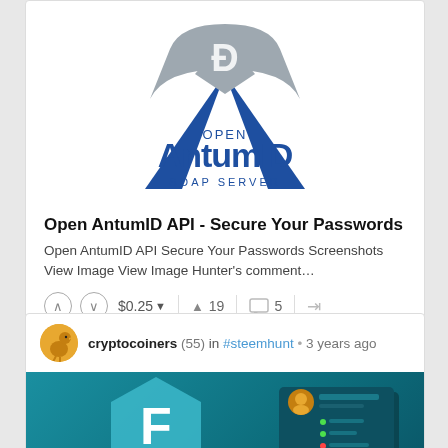[Figure (logo): Open AntumID SOAP SERVER logo with blue triangles and a stylized D emblem on top]
Open AntumID API - Secure Your Passwords
Open AntumID API Secure Your Passwords Screenshots View Image View Image Hunter's comment...
⌃ ⌄ $0.25 ▼   ▲ 19   💬 5   ↷
cryptocoiners (55) in #steemhunt • 3 years ago
[Figure (screenshot): Teal/dark background with a large hexagonal F logo and profile card UI elements on the right]